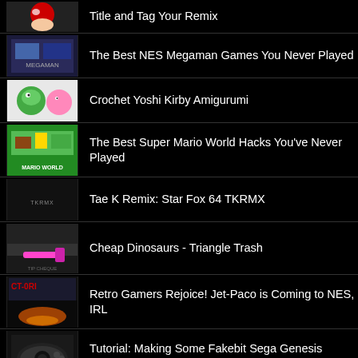Title and Tag Your Remix
The Best NES Megaman Games You Never Played
Crochet Yoshi Kirby Amigurumi
The Best Super Mario World Hacks You've Never Played
Tae K Remix: Star Fox 64 TKRMX
Cheap Dinosaurs - Triangle Trash
Retro Gamers Rejoice! Jet-Paco is Coming to NES, IRL
Tutorial: Making Some Fakebit Sega Genesis Sounds Within Your DAWS Application